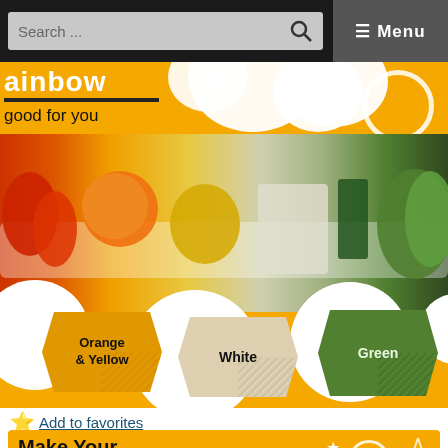Search ... ☰ Menu
[Figure (infographic): Rainbow salad infographic on orange background showing colorful vegetables and fruits arranged in a strip: red/orange peppers, tangerines, chickpeas, bean sprouts, dark greens, lettuce. Color labels shown: Orange & Yellow, White, Green. Stars and cloud decorations. Text: good for you]
⭐ Add to favorites
[Figure (infographic): Make Your Salad A Rainbow infographic card on orange background. These colors are good for you. Shows rainbow graphic and food imagery.]